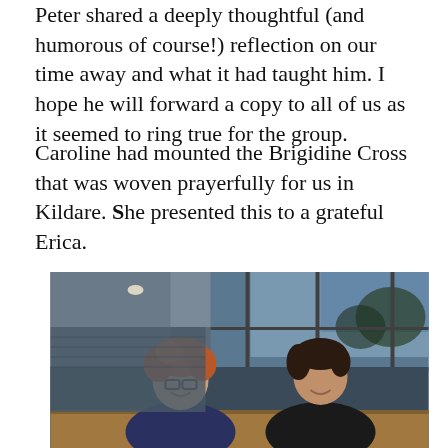Peter shared a deeply thoughtful (and humorous of course!) reflection on our time away and what it had taught him. I hope he will forward a copy to all of us as it seemed to ring true for the group.
Caroline had mounted the Brigidine Cross that was woven prayerfully for us in Kildare. She presented this to a grateful Erica.
[Figure (photo): Two women smiling indoors in an evening setting with large glass windows showing dusk outside. One woman on the left has curly reddish hair and glasses, wearing a dark navy top. The other woman on the right has dark short hair and is wearing a black outfit. They appear to be at a wooden table or bench.]